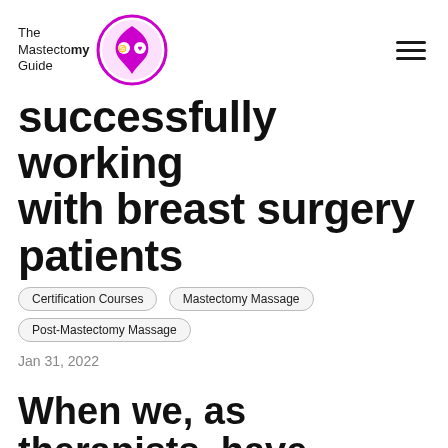The Mastectomy Guide
successfully working with breast surgery patients
Certification Courses
Mastectomy Massage
Post-Mastectomy Massage
Jan 31, 2022
When we, as therapists, have patients who present with